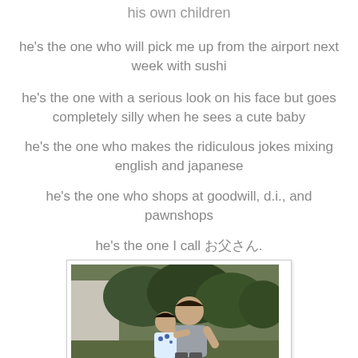his own children
he's the one who will pick me up from the airport next week with sushi
he's the one with a serious look on his face but goes completely silly when he sees a cute baby
he's the one who makes the ridiculous jokes mixing english and japanese
he's the one who shops at goodwill, d.i., and pawnshops
he's the one I call お父さん.
[Figure (photo): A man and a child hugging outdoors, with trees and a building in the background, old photograph style]